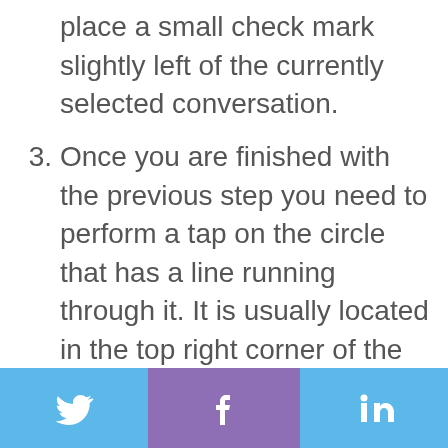place a small check mark slightly left of the currently selected conversation.
3. Once you are finished with the previous step you need to perform a tap on the circle that has a line running through it. It is usually located in the top right corner of the current screen.
4. After that, you need to tap the option that says Block. You also have the option of forwarding the spam contact’s last 10 text messages directly to Google if you want to report such messages as spam.
5. The next method will work for those users who are making use of either Google